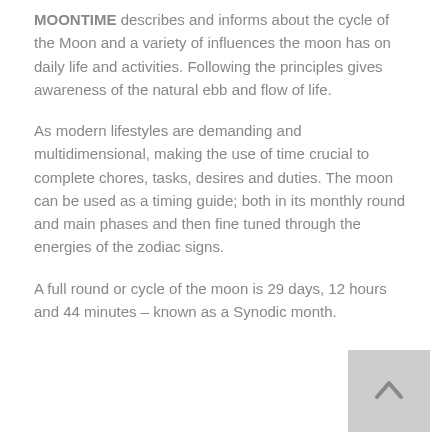MOONTIME describes and informs about the cycle of the Moon and a variety of influences the moon has on daily life and activities. Following the principles gives awareness of the natural ebb and flow of life.
As modern lifestyles are demanding and multidimensional, making the use of time crucial to complete chores, tasks, desires and duties. The moon can be used as a timing guide; both in its monthly round and main phases and then fine tuned through the energies of the zodiac signs.
A full round or cycle of the moon is 29 days, 12 hours and 44 minutes – known as a Synodic month.
[Figure (other): Back to top button with upward-pointing chevron arrow on grey square background]